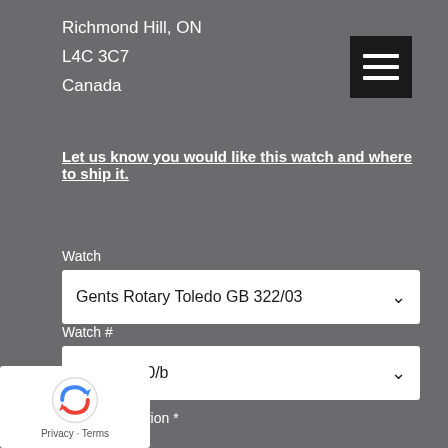Richmond Hill, ON
L4C 3C7
Canada
[Figure (other): Hamburger menu button icon with three horizontal white lines on dark background]
Let us know you would like this watch and where to ship it.
Watch
Gents Rotary Toledo GB 322/03
Watch #
GWS - 460/b
Option *
[Figure (other): Google reCAPTCHA widget with Privacy and Terms text]